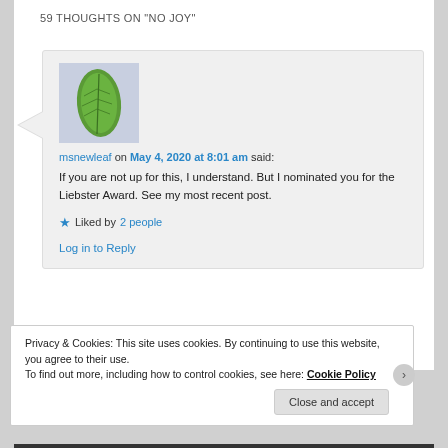59 THOUGHTS ON "NO JOY"
[Figure (illustration): Green leaf avatar image for user msnewleaf]
msnewleaf on May 4, 2020 at 8:01 am said:
If you are not up for this, I understand. But I nominated you for the Liebster Award. See my most recent post.
★ Liked by 2 people
Privacy & Cookies: This site uses cookies. By continuing to use this website, you agree to their use.
To find out more, including how to control cookies, see here: Cookie Policy
Close and accept